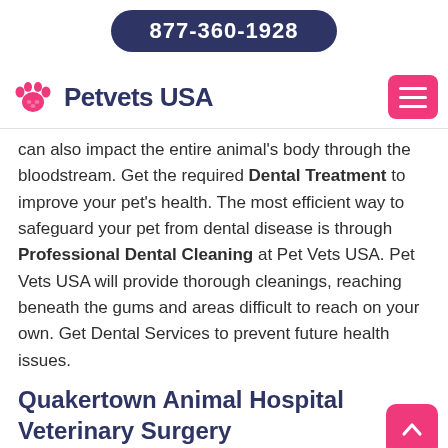877-360-1928
[Figure (logo): Petvets USA logo with pink paw print icon and dark navy text 'Petvets USA', and a pink hamburger menu button on the right]
can also impact the entire animal's body through the bloodstream. Get the required Dental Treatment to improve your pet's health. The most efficient way to safeguard your pet from dental disease is through Professional Dental Cleaning at Pet Vets USA. Pet Vets USA will provide thorough cleanings, reaching beneath the gums and areas difficult to reach on your own. Get Dental Services to prevent future health issues.
Quakertown Animal Hospital Veterinary Surgery